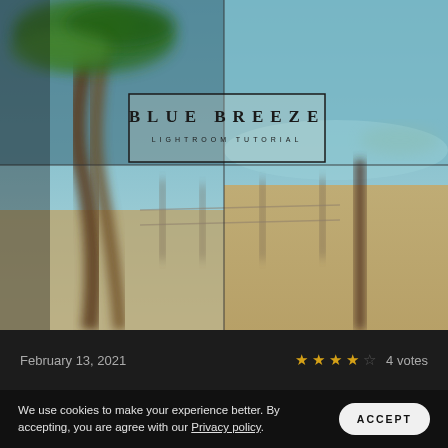[Figure (photo): Blurred beach scene with palm tree on the left and ocean/beach background. Overlaid with a 2x2 grid of panels giving a composite tiled effect. A centered logo box reads 'BLUE BREEZE / LIGHTROOM TUTORIAL'.]
BLUE BREEZE
LIGHTROOM TUTORIAL
February 13, 2021
★★★★☆ 4 votes
We use cookies to make your experience better. By accepting, you are agree with our Privacy policy.